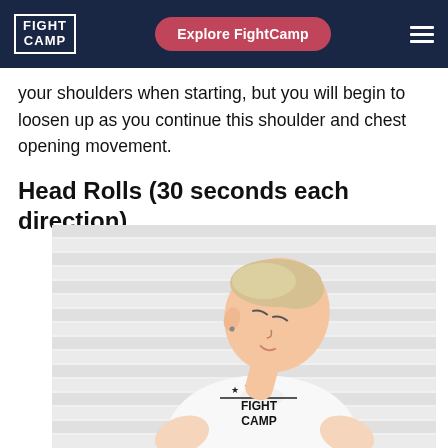FIGHT CAMP | Explore FightCamp
your shoulders when starting, but you will begin to loosen up as you continue this shoulder and chest opening movement.
Head Rolls (30 seconds each direction)
[Figure (photo): A woman wearing a white FightCamp t-shirt with eyes closed, tilting her head to the side in a head roll stretch, against a white striped background.]